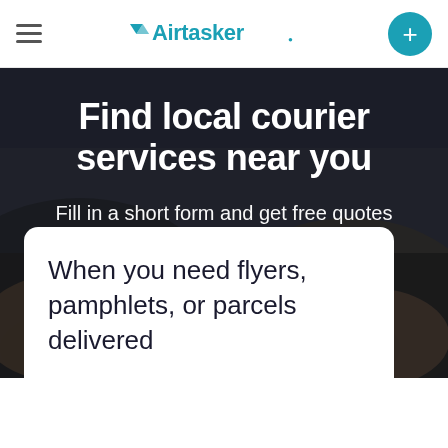Airtasker
Find local courier services near you
Fill in a short form and get free quotes for local courier services near you
When you need flyers, pamphlets, or parcels delivered